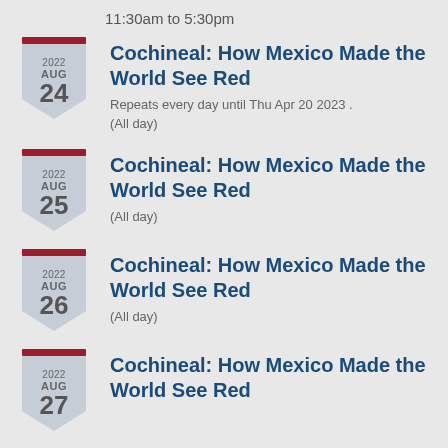11:30am to 5:30pm
2022 AUG 24 | Cochineal: How Mexico Made the World See Red | Repeats every day until Thu Apr 20 2023 . | (All day)
2022 AUG 25 | Cochineal: How Mexico Made the World See Red | (All day)
2022 AUG 26 | Cochineal: How Mexico Made the World See Red | (All day)
2022 AUG 27 | Cochineal: How Mexico Made the World See Red